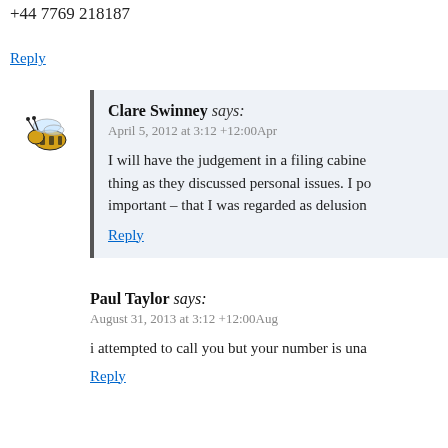+44 7769 218187
Reply
Clare Swinney says:
April 5, 2012 at 3:12 +12:00Apr
I will have the judgement in a filing cabine... thing as they discussed personal issues. I po... important – that I was regarded as delusion...
Reply
Paul Taylor says:
August 31, 2013 at 3:12 +12:00Aug
i attempted to call you but your number is una...
Reply